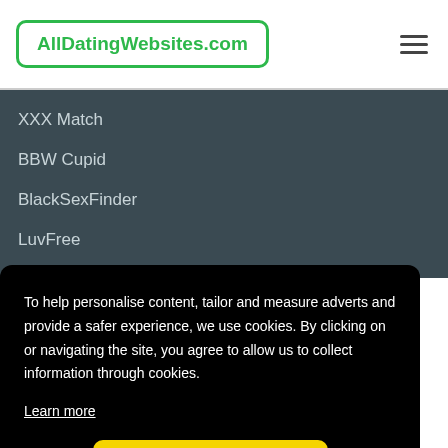[Figure (logo): AllDatingWebsites.com logo in green text inside a rounded rectangle border]
XXX Match
BBW Cupid
BlackSexFinder
LuvFree
To help personalise content, tailor and measure adverts and provide a safer experience, we use cookies. By clicking on or navigating the site, you agree to allow us to collect information through cookies.
Learn more
OK